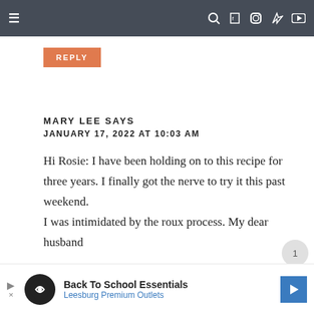≡  🔍 f 📷 p ▶
REPLY
MARY LEE SAYS
JANUARY 17, 2022 AT 10:03 AM
Hi Rosie: I have been holding on to this recipe for three years. I finally got the nerve to try it this past weekend.
I was intimidated by the roux process. My dear husband
made the roux for me and I did everything
[Figure (other): Advertisement banner for Back To School Essentials at Leesburg Premium Outlets]